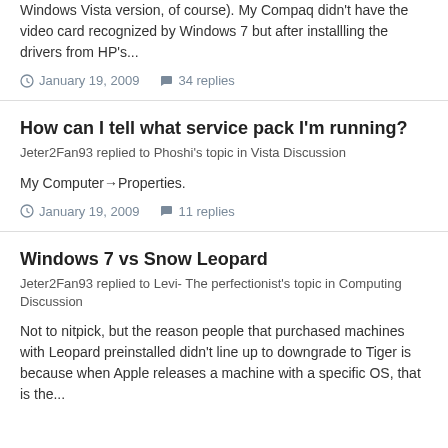Windows Vista version, of course). My Compaq didn't have the video card recognized by Windows 7 but after installling the drivers from HP's...
January 19, 2009   34 replies
How can I tell what service pack I'm running?
Jeter2Fan93 replied to Phoshi's topic in Vista Discussion
My Computer→Properties.
January 19, 2009   11 replies
Windows 7 vs Snow Leopard
Jeter2Fan93 replied to Levi- The perfectionist's topic in Computing Discussion
Not to nitpick, but the reason people that purchased machines with Leopard preinstalled didn't line up to downgrade to Tiger is because when Apple releases a machine with a specific OS, that is the...